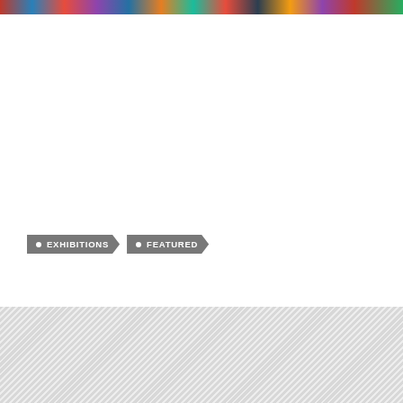[Figure (photo): Horizontal strip of colorful images at top of page]
● EXHIBITIONS
● FEATURED
[Figure (other): Diagonal hatched gray pattern background section]